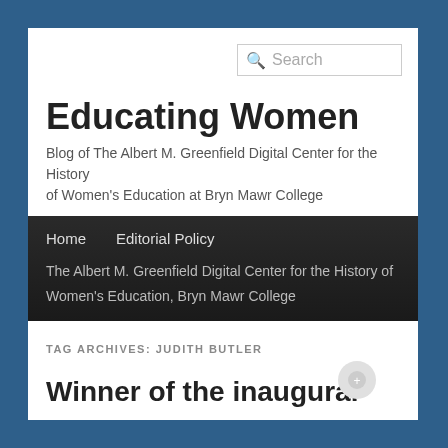Search
Educating Women
Blog of The Albert M. Greenfield Digital Center for the History of Women's Education at Bryn Mawr College
Home
Editorial Policy
The Albert M. Greenfield Digital Center for the History of Women's Education, Bryn Mawr College
TAG ARCHIVES: JUDITH BUTLER
Winner of the inaugural